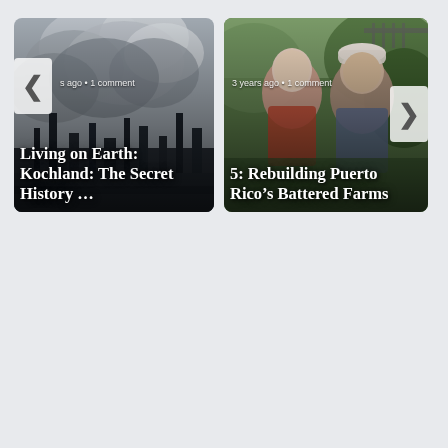[Figure (photo): Article card with industrial smoke/factory photo. Shows: left navigation arrow, metadata '...s ago • 1 comment', title 'Living on Earth: Kochland: The Secret History …']
[Figure (photo): Article card with photo of two people (man and woman) outdoors with greenery. Shows: right navigation arrow, metadata '3 years ago • 1 comment', title '5: Rebuilding Puerto Rico's Battered Farms']